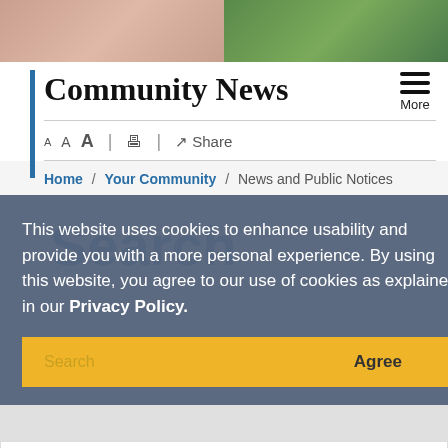[Figure (photo): Hero banner split: left half shows a person's hand/arm with warm tones, right half shows an aerial green landscape view]
Community News
A A A | 🖶 | ↗ Share
Home / Your Community / News and Public Notices
This website uses cookies to enhance usability and provide you with a more personal experience. By using this website, you agree to our use of cookies as explained in our Privacy Policy.
Search  Agree
Community News